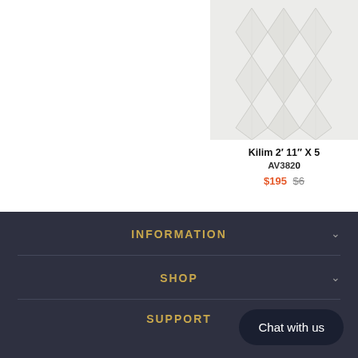[Figure (photo): Partial view of a light grey/white patterned rug product card with geometric kilim design]
Kilim 2’ 11″ X 5
AV3820
$195 $6
INFORMATION
SHOP
SUPPORT
Chat with us